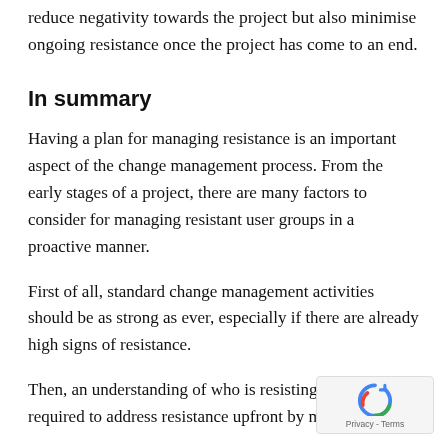reduce negativity towards the project but also minimise ongoing resistance once the project has come to an end.
In summary
Having a plan for managing resistance is an important aspect of the change management process. From the early stages of a project, there are many factors to consider for managing resistant user groups in a proactive manner.
First of all, standard change management activities should be as strong as ever, especially if there are already high signs of resistance.
Then, an understanding of who is resisting and why is required to address resistance upfront by making th…